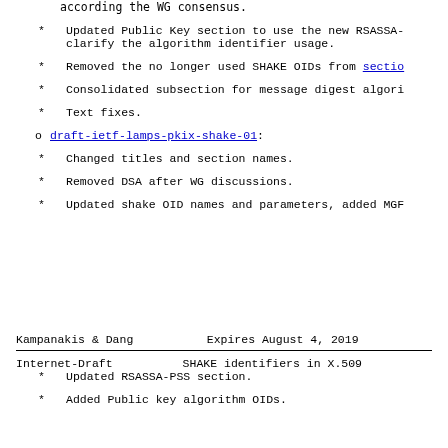Updated Public Key section to use the new RSASSA- clarify the algorithm identifier usage.
Removed the no longer used SHAKE OIDs from sectio
Consolidated subsection for message digest algori
Text fixes.
draft-ietf-lamps-pkix-shake-01:
Changed titles and section names.
Removed DSA after WG discussions.
Updated shake OID names and parameters, added MGF
Kampanakis & Dang        Expires August 4, 2019
Internet-Draft          SHAKE identifiers in X.509
Updated RSASSA-PSS section.
Added Public key algorithm OIDs.